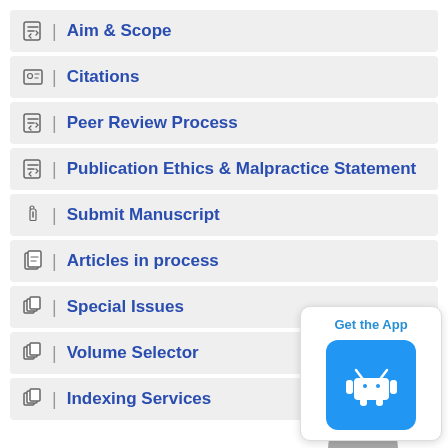Aim & Scope
Citations
Peer Review Process
Publication Ethics & Malpractice Statement
Submit Manuscript
Articles in process
Special Issues
Volume Selector
Indexing Services
[Figure (screenshot): Get the App popup with Android logo button]